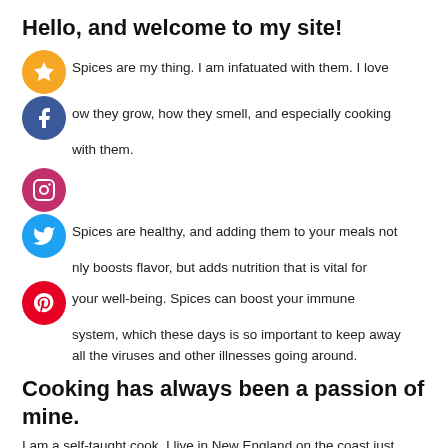Hello, and welcome to my site!
[Figure (illustration): Five social media icon circles stacked vertically on the left: gold star, Facebook blue, Instagram pink, Twitter blue, Pinterest red]
Spices are my thing. I am infatuated with them. I love how they grow, how they smell, and especially cooking with them.
Spices are healthy, and adding them to your meals not only boosts flavor, but adds nutrition that is vital for your well-being. Spices can boost your immune system, which these days is so important to keep away all the viruses and other illnesses going around.
Cooking has always been a passion of mine.
I am a self-taught cook. I live in New England on the coast just north of Boston, MA. I have lived here all my life and was fortunate to be able to raise my kids here as well. The kids are all grown and have their own careers and families, so it's just my husband, myself